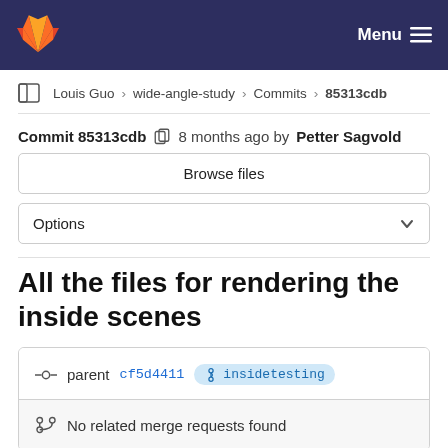GitLab navigation bar with logo and Menu button
Louis Guo > wide-angle-study > Commits > 85313cdb
Commit 85313cdb  8 months ago by Petter Sagvold
Browse files
Options
All the files for rendering the inside scenes
parent cf5d4411  insidetesting
No related merge requests found